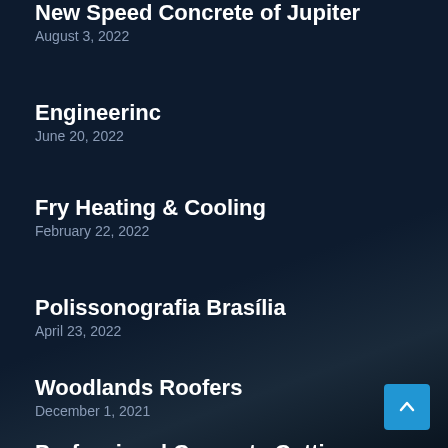New Speed Concrete of Jupiter
August 3, 2022
Engineerinc
June 20, 2022
Fry Heating & Cooling
February 22, 2022
Polissonografia Brasília
April 23, 2022
Woodlands Roofers
December 1, 2021
Professional Concrete Cutting Newcastle
January 12, 2022